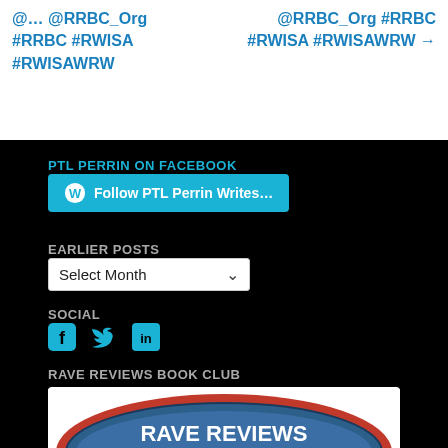@… @RRBC_Org #RRBC #RWISA #RWISAWRW
@RRBC_Org #RRBC #RWISA #RWISAWRW →
PTL PERRIN ON FACEBOOK
[Figure (other): Follow PTL Perrin Writes... WordPress follow button]
EARLIER POSTS
Select Month
SOCIAL
[Figure (other): Social media icons: Facebook, Twitter, LinkedIn]
RAVE REVIEWS BOOK CLUB
[Figure (logo): Rave Reviews Book Club logo — blue oval with red border, white text reading RAVE REVIEWS BOOK CLUB]